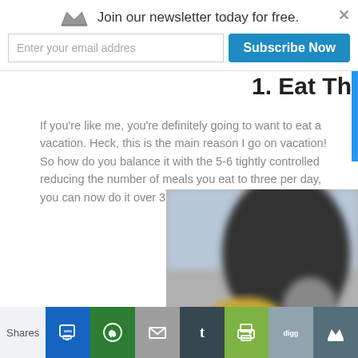Join our newsletter today for free.
1. Eat Th
If you're like me, you're definitely going to want to eat a vacation. Heck, this is the main reason I go on vacation! So how do you balance it with the 5-6 tightly controlled reducing the number of meals you eat to three per day, you can now do it over 3 meals, which is double your us
[Figure (photo): Blurred photo of a person eating, partially cropped, dark and warm tones with a yellowish food item visible.]
Shares — social sharing icons: SMS, WhatsApp, Email, Tumblr, Print, Digg, Crown